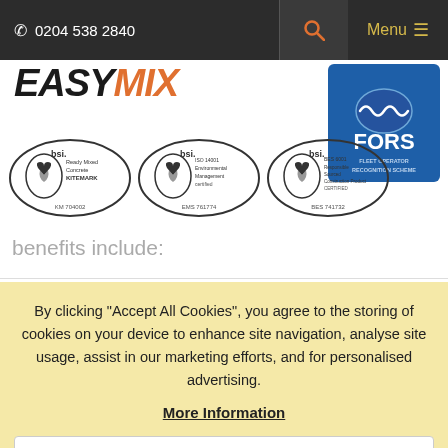0204 538 2840  🔍  Menu ≡
[Figure (logo): EASYMIX company logo in bold italic font, EASY in black and MIX in orange]
[Figure (logo): FORS Fleet Operator Recognition Scheme Silver badge in blue and white]
[Figure (other): Three BSI certification oval badges: KM 704002 (Ready Mixed Concrete Kitemark), EMS 761774 (ISO 14001 Environmental Management), BES 741732 (BES 6001 Responsible Sourced Construction Products Certified)]
benefits include:
By clicking "Accept All Cookies", you agree to the storing of cookies on your device to enhance site navigation, analyse site usage, assist in our marketing efforts, and for personalised advertising.
More Information
Accept All Cookies